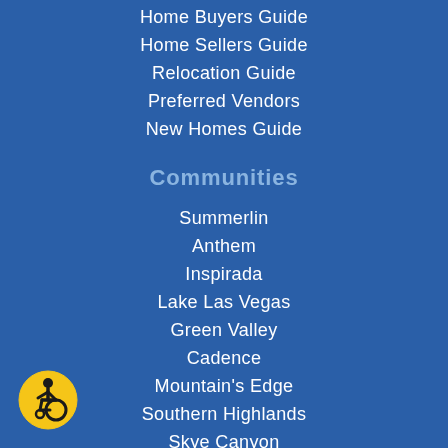Home Buyers Guide
Home Sellers Guide
Relocation Guide
Preferred Vendors
New Homes Guide
Communities
Summerlin
Anthem
Inspirada
Lake Las Vegas
Green Valley
Cadence
Mountain's Edge
Southern Highlands
Skye Canyon
Seven Hills
[Figure (illustration): Accessibility icon — yellow circle with black wheelchair user symbol]